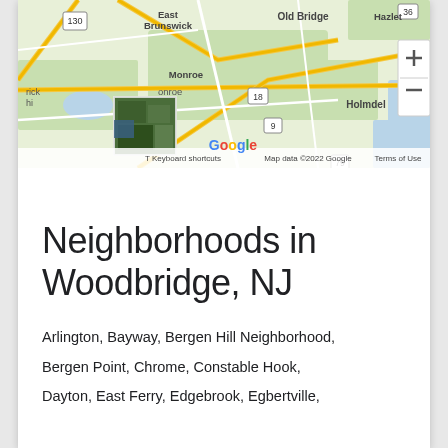[Figure (map): Google Maps view showing New Jersey area including East Brunswick, Old Bridge, Hazlet, Holmdel, Monroe, and surrounding areas with road network. Shows zoom controls (+/-) and Google branding. Map data ©2022 Google.]
Neighborhoods in Woodbridge, NJ
Arlington, Bayway, Bergen Hill Neighborhood, Bergen Point, Chrome, Constable Hook, Dayton, East Ferry, Edgebrook, Egbertville,